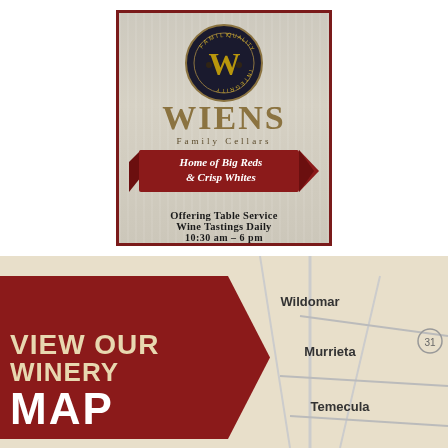[Figure (logo): Wiens Family Cellars winery advertisement card on wood-grain background with dark red border. Shows circular logo with 'W', 'WIENS Family Cellars' text, dark red ribbon banner reading 'Home of Big Reds & Crisp Whites', and text 'Offering Table Service Wine Tastings Daily 10:30 am – 6 pm']
[Figure (map): Partial map showing Temecula wine country area with cities: Wildomar, Murrieta, Temecula. Dark red arrow/banner shape on left reads 'VIEW OUR WINERY MAP' on a tan/parchment background.]